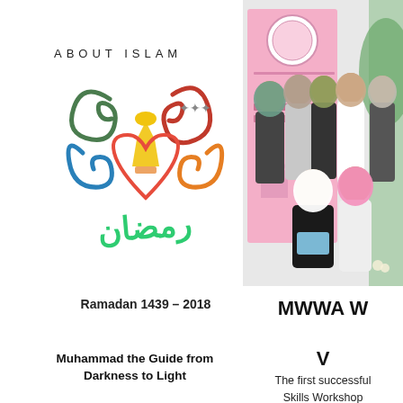ABOUT ISLAM
[Figure (logo): Ramadan 1439-2018 decorative Arabic calligraphy logo with colorful swirls and mosque silhouette]
Ramadan 1439 – 2018
Muhammad the Guide from Darkness to Light
[Figure (photo): Group photo of Muslim women wearing hijabs, standing and sitting in front of a pink MWWA banner in a room with green arch decorations]
MWWA W
V
The first successful Skills Workshop